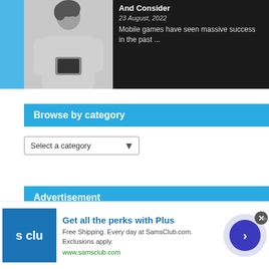[Figure (photo): Person in hoodie holding and looking at a smartphone, shown against a light gray background, article thumbnail image]
And Consider
23 August, 2022
Mobile games have seen massive success in the past ...
Browse by category
Select a category
Advertisement
[Figure (logo): Sam's Club logo showing 's clu' text in white on blue square background]
Get all the perks with Plus
Free Shipping. Every day at SamsClub.com. Exclusions apply.
www.samsclub.com